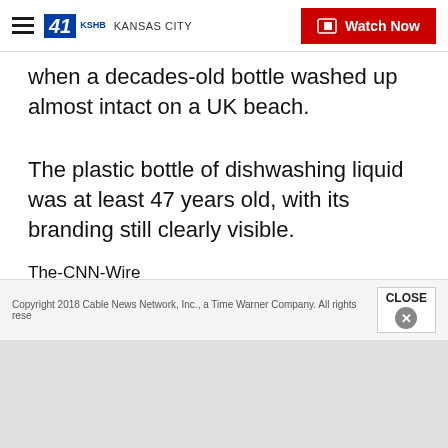41 KSHB KANSAS CITY — Watch Now
when a decades-old bottle washed up almost intact on a UK beach.
The plastic bottle of dishwashing liquid was at least 47 years old, with its branding still clearly visible.
The-CNN-Wire
™ & © 2018 Cable News Network, Inc., a Time Warner Company. All rights reserved.
Copyright 2018 Cable News Network, Inc., a Time Warner Company. All rights rese   CLOSE